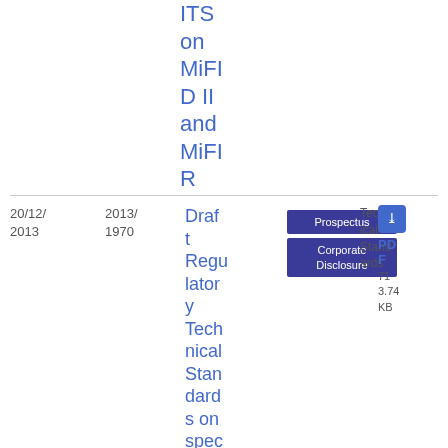ITS on MiFID II and MiFIR
| Date | Doc Number | Title | Tags | Type | File Info |
| --- | --- | --- | --- | --- | --- |
| 20/12/2013 | 2013/1970 | Draft Regulatory Technical Standards on specific situations | Prospectus | Corporate Disclosure | Technical Standards | PDF | 71
3.74 KB |